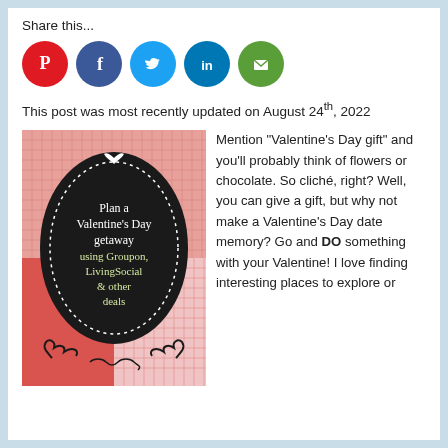Share this...
[Figure (infographic): Social media share icons: Pinterest (red), Facebook (blue), Twitter (light blue), LinkedIn (dark blue), Email (green)]
This post was most recently updated on August 24th, 2022
[Figure (illustration): Valentine's Day themed image with pink/red patchwork background and black oval frame containing text: Plan a Valentine's Day getaway using Groupon, LivingSocial & other deals]
Mention “Valentine’s Day gift” and you'll probably think of flowers or chocolate.  So cliché, right?  Well, you can give a gift, but why not make a Valentine’s Day date memory?  Go and DO something with your Valentine!  I love finding interesting places to explore or